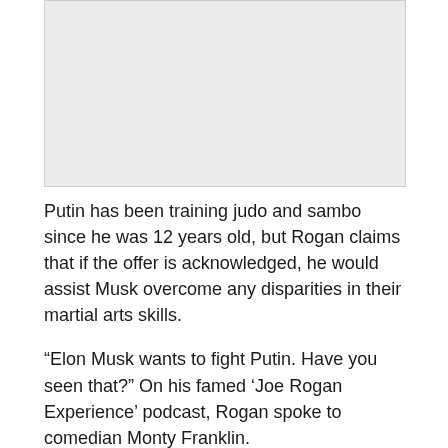[Figure (photo): Placeholder image area, light gray background]
Putin has been training judo and sambo since he was 12 years old, but Rogan claims that if the offer is acknowledged, he would assist Musk overcome any disparities in their martial arts skills.
“Elon Musk wants to fight Putin. Have you seen that?” On his famed ‘Joe Rogan Experience’ podcast, Rogan spoke to comedian Monty Franklin.